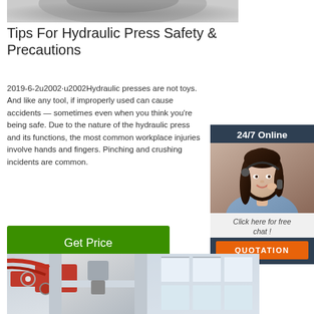[Figure (photo): Top partial photo of a circular metallic/disc object, cropped at top of page]
Tips For Hydraulic Press Safety & Precautions
2019-6-2u2002·u2002Hydraulic presses are not toys. And like any tool, if improperly used can cause accidents — sometimes even when you think you're being safe. Due to the nature of the hydraulic press and its functions, the most common workplace injuries involve hands and fingers. Pinching and crushing incidents are common.
[Figure (photo): Chat widget with 24/7 Online header, photo of a smiling female customer service representative with headset, Click here for free chat text, and orange QUOTATION button]
[Figure (illustration): Green Get Price button]
[Figure (photo): Bottom partial photo of a hydraulic press machine in an industrial setting]